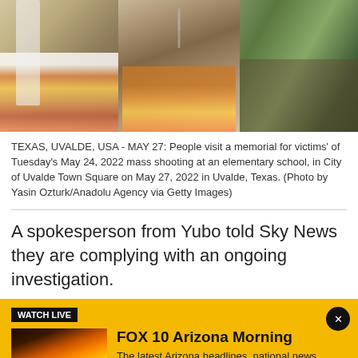[Figure (photo): Three-panel photo: left panel shows white clothing and colorful flowers at a memorial; center panel shows crosses and floral arrangements; right panel shows a person with a tattoo kneeling outdoors among greenery.]
TEXAS, UVALDE, USA - MAY 27: People visit a memorial for victims' of Tuesday's May 24, 2022 mass shooting at an elementary school, in City of Uvalde Town Square on May 27, 2022 in Uvalde, Texas. (Photo by Yasin Ozturk/Anadolu Agency via Getty Images)
A spokesperson from Yubo told Sky News they are complying with an ongoing investigation.
[Figure (screenshot): Watch Live banner in yellow background showing FOX 10 Arizona Morning with thumbnail image of FOX 10 Phoenix logo over a sunset, and a close button (X) in the top right corner.]